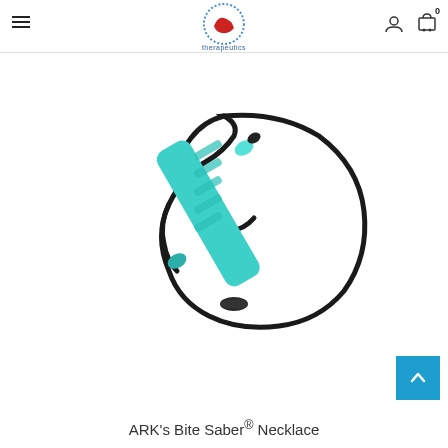ARK Therapeutics website header with hamburger menu, logo, user icon, and cart (0)
[Figure (photo): ARK's Bite Saber Necklace - a teal/turquoise cylindrical chew tool attached to a black cord necklace with a breakaway clasp, photographed on white background]
ARK's Bite Saber® Necklace